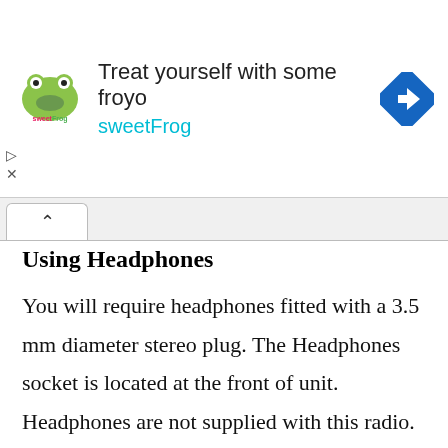[Figure (other): SweetFrog advertisement banner with logo, tagline 'Treat yourself with some froyo sweetFrog', and navigation arrow icon]
Using Headphones
You will require headphones fitted with a 3.5 mm diameter stereo plug. The Headphones socket is located at the front of unit. Headphones are not supplied with this radio. Turn down the volume before connecting headphones. Slowly raise the volume with the headphones on until you reach your desired level.